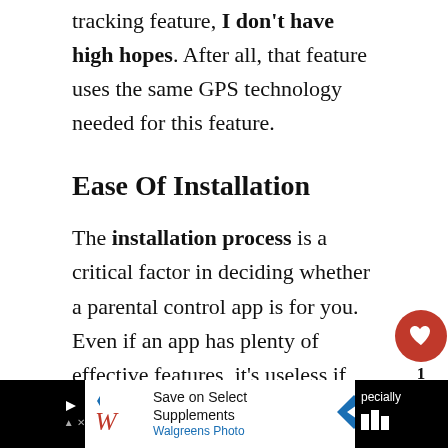tracking feature, I don't have high hopes. After all, that feature uses the same GPS technology needed for this feature.
Ease Of Installation
The installation process is a critical factor in deciding whether a parental control app is for you. Even if an app has plenty of effective features, it's useless if you can't install it in the first place.
One big problem plaguing many monitoring apps is
[Figure (other): Floating action buttons: red heart icon with count '1' below, and a share icon button below that]
[Figure (other): Advertisement banner: Walgreens Photo - Save on Select Supplements, with Walgreens logo and navigation arrow icon. Black background sections on sides with partially visible text 'specially' and game controller icon.]